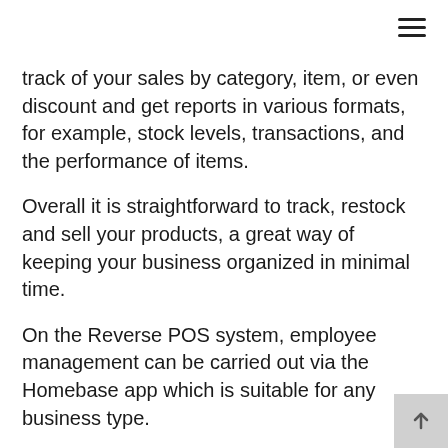track of your sales by category, item, or even discount and get reports in various formats, for example, stock levels, transactions, and the performance of items.
Overall it is straightforward to track, restock and sell your products, a great way of keeping your business organized in minimal time.
On the Reverse POS system, employee management can be carried out via the Homebase app which is suitable for any business type.
As well as creating labor reports, it allows you to review timesheets and see the availability of